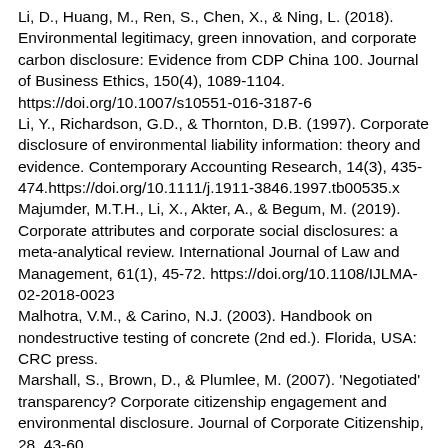Li, D., Huang, M., Ren, S., Chen, X., & Ning, L. (2018). Environmental legitimacy, green innovation, and corporate carbon disclosure: Evidence from CDP China 100. Journal of Business Ethics, 150(4), 1089-1104. https://doi.org/10.1007/s10551-016-3187-6
Li, Y., Richardson, G.D., & Thornton, D.B. (1997). Corporate disclosure of environmental liability information: theory and evidence. Contemporary Accounting Research, 14(3), 435-474.https://doi.org/10.1111/j.1911-3846.1997.tb00535.x
Majumder, M.T.H., Li, X., Akter, A., & Begum, M. (2019). Corporate attributes and corporate social disclosures: a meta-analytical review. International Journal of Law and Management, 61(1), 45-72. https://doi.org/10.1108/IJLMA-02-2018-0023
Malhotra, V.M., & Carino, N.J. (2003). Handbook on nondestructive testing of concrete (2nd ed.). Florida, USA: CRC press.
Marshall, S., Brown, D., & Plumlee, M. (2007). 'Negotiated' transparency? Corporate citizenship engagement and environmental disclosure. Journal of Corporate Citizenship, 28, 43-60.
Marston, C.L., & Shrives, P. J. (1991). The use of disclosure indices in accounting research: a review article. The British